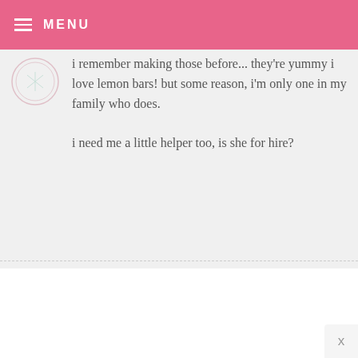MENU
i remember making those before... they're yummy i love lemon bars! but some reason, i'm only one in my family who does.

i need me a little helper too, is she for hire?
~ DEE ~ — JUNE 8, 2009 @ 8:24 PM REPLY

Love everything!!!
What is the name of the font you used